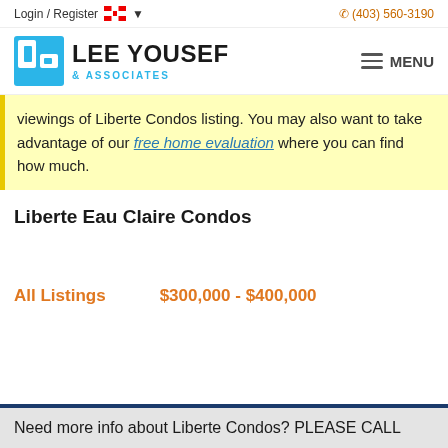Login / Register  🇨🇦 ▾     ☎ (403) 560-3190
[Figure (logo): Lee Yousef & Associates real estate logo with blue square LU icon and company name]
viewings of Liberte Condos listing. You may also want to take advantage of our free home evaluation where you can find how much.
Liberte Eau Claire Condos
All Listings    $300,000 - $400,000
Need more info about Liberte Condos? PLEASE CALL